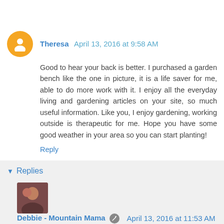Theresa  April 13, 2016 at 9:58 AM
Good to hear your back is better. I purchased a garden bench like the one in picture, it is a life saver for me, able to do more work with it. I enjoy all the everyday living and gardening articles on your site, so much useful information. Like you, I enjoy gardening, working outside is therapeutic for me. Hope you have some good weather in your area so you can start planting!
Reply
Replies
Debbie - Mountain Mama  April 13, 2016 at 11:53 AM
It truly is a life saver, Theresa, I totally agree! I had knee surgery a few years back and ever